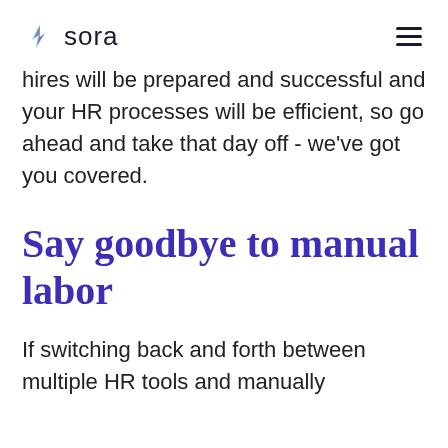sora
hires will be prepared and successful and your HR processes will be efficient, so go ahead and take that day off - we've got you covered.
Say goodbye to manual labor
If switching back and forth between multiple HR tools and manually